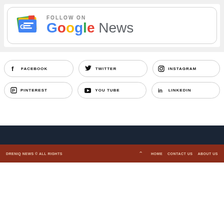[Figure (logo): Follow on Google News badge with Google News icon and text]
[Figure (infographic): Social media buttons: Facebook, Twitter, Instagram, Pinterest, You Tube, LinkedIn]
DRENIQ NEWS © ALL RIGHTS   HOME   CONTACT US   ABOUT US